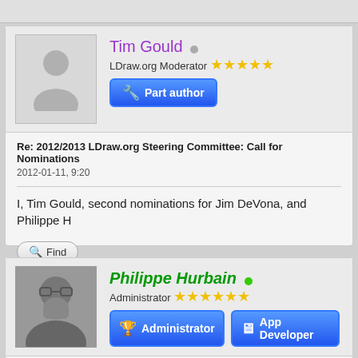Tim Gould
LDraw.org Moderator ★★★★★
Part author
Re: 2012/2013 LDraw.org Steering Committee: Call for Nominations
2012-01-11, 9:20
I, Tim Gould, second nominations for Jim DeVona, and Philippe H
Find
Philippe Hurbain
Administrator ★★★★★★
Administrator
App Developer